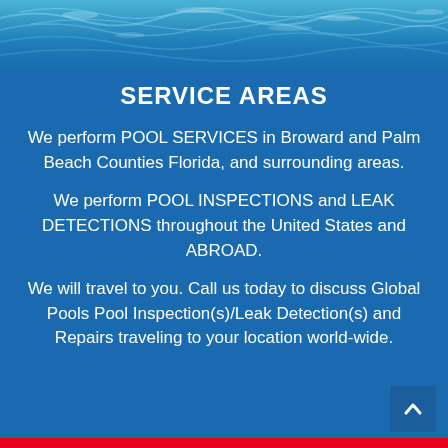[Figure (photo): Swimming pool water surface seen from above, showing blue rippling water with light reflections.]
SERVICE AREAS
We perform POOL SERVICES in Broward and Palm Beach Counties Florida, and surrounding areas.
We perform POOL INSPECTIONS and LEAK DETECTIONS throughout the United States and ABROAD.
We will travel to you. Call us today to discuss Global Pools Pool Inspection(s)/Leak Detection(s) and Repairs traveling to your location world-wide.